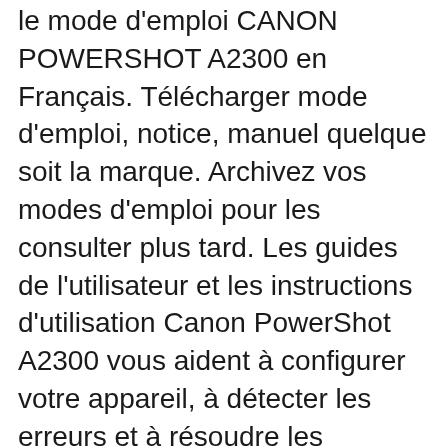le mode d'emploi CANON POWERSHOT A2300 en Français. Télécharger mode d'emploi, notice, manuel quelque soit la marque. Archivez vos modes d'emploi pour les consulter plus tard. Les guides de l'utilisateur et les instructions d'utilisation Canon PowerShot A2300 vous aident à configurer votre appareil, à détecter les erreurs et à résoudre les problèmes.
GRATUIT ! Ce site permet de télécharger le mode d'emploi CANON POWERSHOT A2300 en Français. Télécharger mode d'emploi, notice, manuel quelque soit la marque. Archivez vos modes d'emploi pour les consulter plus tard. PowerShot A2300 A4000 IS / A3400 A2400 A1300